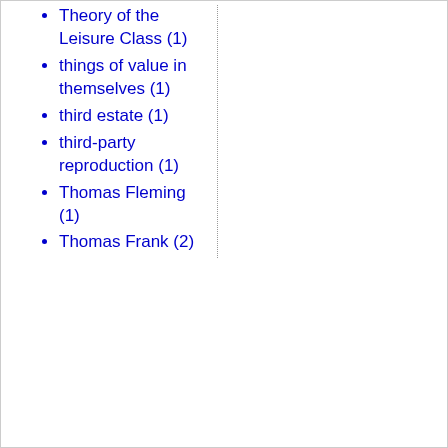Theory of the Leisure Class (1)
things of value in themselves (1)
third estate (1)
third-party reproduction (1)
Thomas Fleming (1)
Thomas Frank (2)